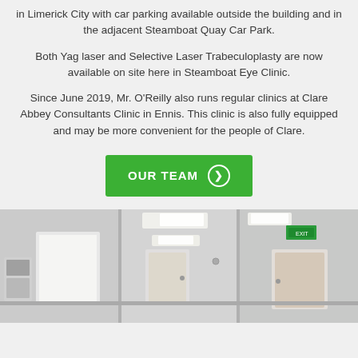in Limerick City with car parking available outside the building and in the adjacent Steamboat Quay Car Park.
Both Yag laser and Selective Laser Trabeculoplasty are now available on site here in Steamboat Eye Clinic.
Since June 2019, Mr. O'Reilly also runs regular clinics at Clare Abbey Consultants Clinic in Ennis. This clinic is also fully equipped and may be more convenient for the people of Clare.
[Figure (other): Green button labeled OUR TEAM with a right-arrow circle icon]
[Figure (photo): Interior photograph of Steamboat Eye Clinic showing a clean modern medical corridor with white walls, ceiling panel lights, wooden doors, and medical equipment visible on the left side. Exit sign visible on the right.]